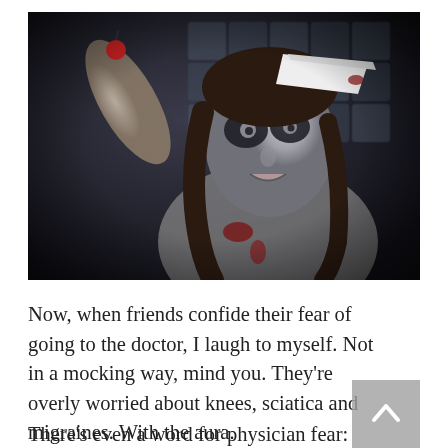[Figure (photo): A person dressed as a zombie nurse in Halloween costume, with dark eye makeup, white face paint, blood stains on clothing, holding a small red object (syringe or cherry), wearing a white nurse cap, posed against a dark tiled wall background.]
Now, when friends confide their fear of going to the doctor, I laugh to myself. Not in a mocking way, mind you. They're overly worried about knees, sciatica and migraines. With the aura.
There's even a word for physician fear: